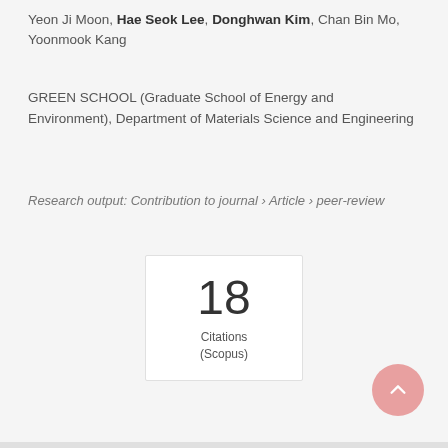Yeon Ji Moon, Hae Seok Lee, Donghwan Kim, Chan Bin Mo, Yoonmook Kang
GREEN SCHOOL (Graduate School of Energy and Environment), Department of Materials Science and Engineering
Research output: Contribution to journal › Article › peer-review
18 Citations (Scopus)